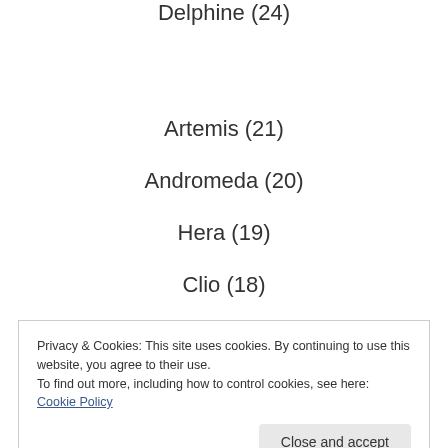Delphine (24)
Artemis (21)
Andromeda (20)
Hera (19)
Clio (18)
Privacy & Cookies: This site uses cookies. By continuing to use this website, you agree to their use. To find out more, including how to control cookies, see here: Cookie Policy
Isolde (14)